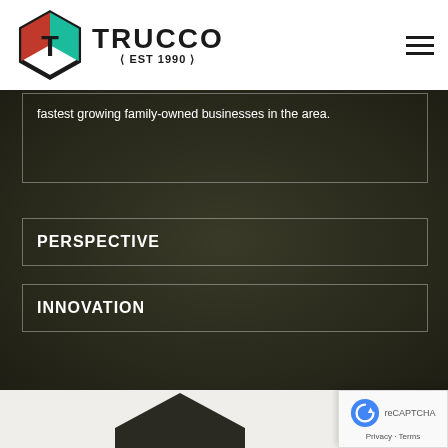[Figure (logo): Trucco logo with hexagonal icon containing letter T in red and teal colors, with text TRUCCO EST 1990]
fastest growing family-owned businesses in the area.
PERSPECTIVE
INNOVATION
[Figure (illustration): Dark hexagonal/house shape silhouette visible at bottom of page]
[Figure (other): reCAPTCHA badge with Privacy and Terms links]